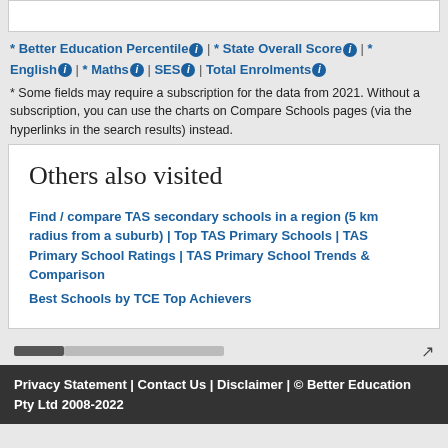* Better Education Percentile ℹ | * State Overall Score ℹ | * English ℹ | * Maths ℹ | SES ℹ | Total Enrolments ℹ
* Some fields may require a subscription for the data from 2021. Without a subscription, you can use the charts on Compare Schools pages (via the hyperlinks in the search results) instead.
Others also visited
Find / compare TAS secondary schools in a region (5 km radius from a suburb) | Top TAS Primary Schools | TAS Primary School Ratings | TAS Primary School Trends & Comparison
Best Schools by TCE Top Achievers
Privacy Statement | Contact Us | Disclaimer | © Better Education Pty Ltd 2008-2022